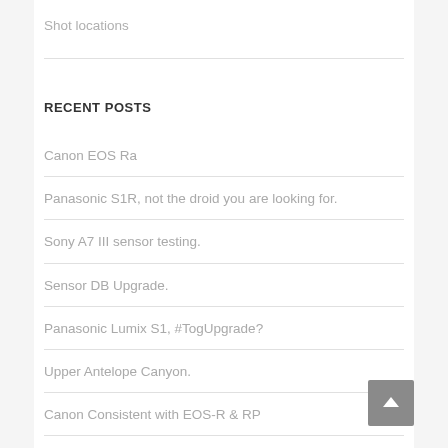Shot locations
RECENT POSTS
Canon EOS Ra
Panasonic S1R, not the droid you are looking for.
Sony A7 III sensor testing.
Sensor DB Upgrade.
Panasonic Lumix S1, #TogUpgrade?
Upper Antelope Canyon.
Canon Consistent with EOS-R & RP
Fuji X-T3. Third time lucky?